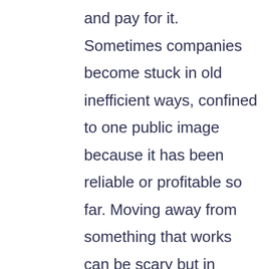and pay for it. Sometimes companies become stuck in old inefficient ways, confined to one public image because it has been reliable or profitable so far. Moving away from something that works can be scary but in today's social climate sometimes it's necessary.

The second step is trust. The world of social media